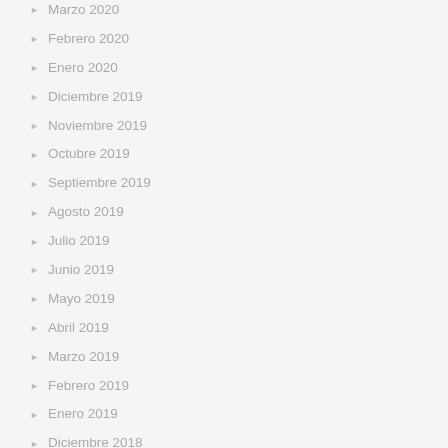Marzo 2020
Febrero 2020
Enero 2020
Diciembre 2019
Noviembre 2019
Octubre 2019
Septiembre 2019
Agosto 2019
Julio 2019
Junio 2019
Mayo 2019
Abril 2019
Marzo 2019
Febrero 2019
Enero 2019
Diciembre 2018
Noviembre 2018